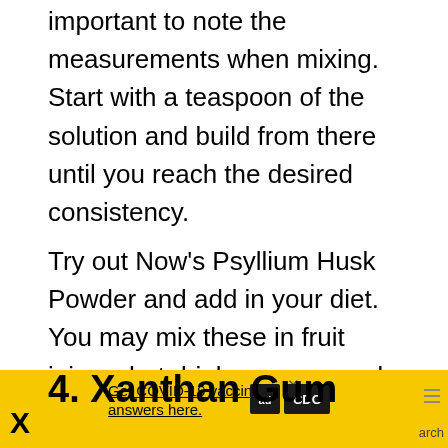important to note the measurements when mixing. Start with a teaspoon of the solution and build from there until you reach the desired consistency.
Try out Now's Psyllium Husk Powder and add in your diet. You may mix these in fruit juices, hot drinks, soups, and stews. Perfect for a vegan diet for a healthier lifestyle.
4. Xanthan Gum
[Figure (other): Heart favorite button (blue circle with heart icon) and share button (white circle with share icon)]
[Figure (other): Advertisement banner with yellow background: 'Get COVID-19 vaccine answers here.' with ad council and CDC logos]